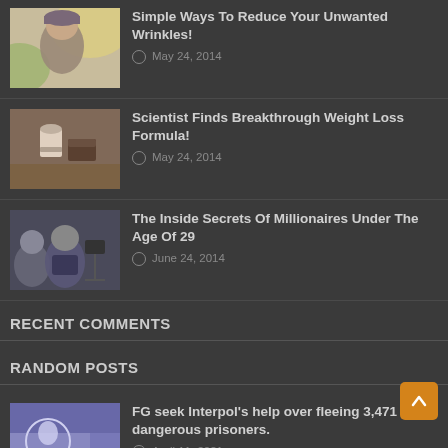Simple Ways To Reduce Your Unwanted Wrinkles! — May 24, 2014
Scientist Finds Breakthrough Weight Loss Formula! — May 24, 2014
The Inside Secrets Of Millionaires Under The Age Of 29 — June 24, 2014
RECENT COMMENTS
RANDOM POSTS
FG seek Interpol's help over fleeing 3,471 dangerous prisoners. — April 11, 2021
MARRIAGE ANTIDOTE